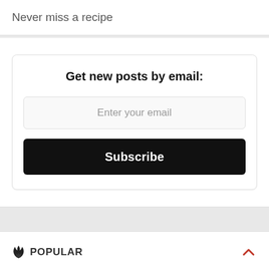Never miss a recipe
Get new posts by email:
Enter your email
Subscribe
POPULAR